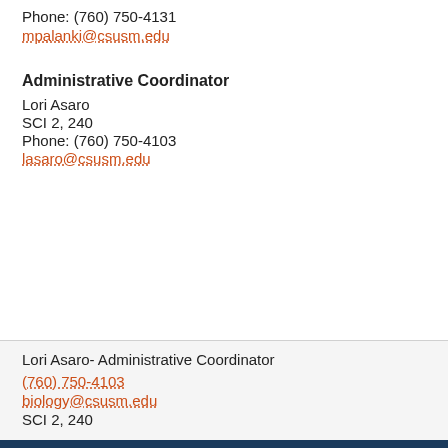Phone: (760) 750-4131
mpalanki@csusm.edu
Administrative Coordinator
Lori Asaro
SCI 2, 240
Phone: (760) 750-4103
lasaro@csusm.edu
Lori Asaro- Administrative Coordinator
(760) 750-4103
biology@csusm.edu
SCI 2, 240